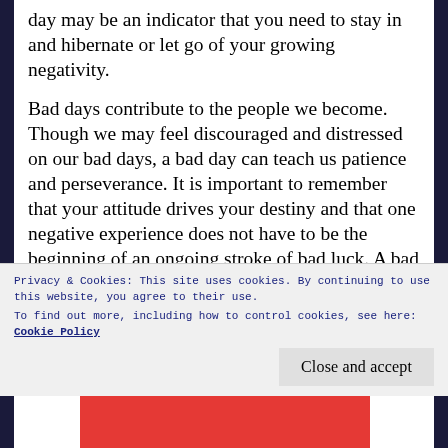day may be an indicator that you need to stay in and hibernate or let go of your growing negativity.
Bad days contribute to the people we become. Though we may feel discouraged and distressed on our bad days, a bad day can teach us patience and perseverance. It is important to remember that your attitude drives your destiny and that one negative experience does not have to be the beginning of an ongoing stroke of bad luck. A bad day is memorable because it is one day among many good days – otherwise, we wouldn't even bother to acknowledge it as a bad day. Know too, that everybody has bad days, you are not alone, the world is
Privacy & Cookies: This site uses cookies. By continuing to use this website, you agree to their use.
To find out more, including how to control cookies, see here: Cookie Policy
Close and accept